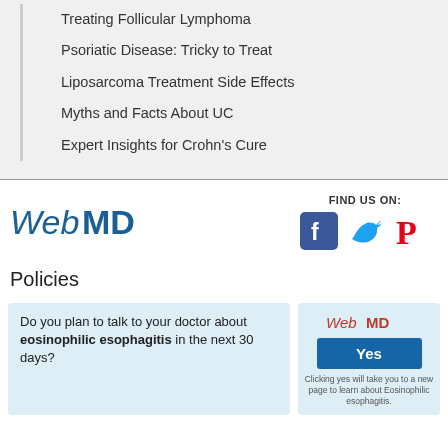Treating Follicular Lymphoma
Psoriatic Disease: Tricky to Treat
Liposarcoma Treatment Side Effects
Myths and Facts About UC
Expert Insights for Crohn's Cure
[Figure (logo): WebMD logo in blue italic and bold styling]
[Figure (logo): Social media icons: Facebook (blue), Twitter (blue), Pinterest (red), with label FIND US ON:]
Policies
Do you plan to talk to your doctor about eosinophilic esophagitis in the next 30 days?
[Figure (infographic): WebMD branded Yes button poll widget with disclaimer: Clicking yes will take you to a new page to learn about Eosinophilic esophagitis.]